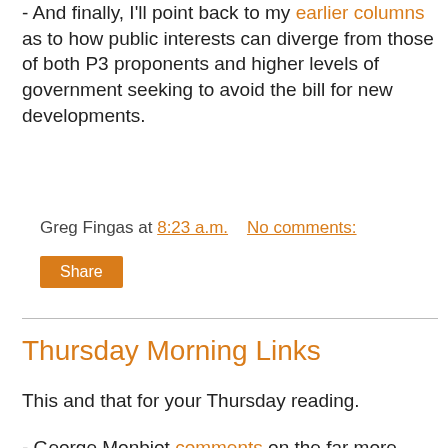- And finally, I'll point back to my earlier columns as to how public interests can diverge from those of both P3 proponents and higher levels of government seeking to avoid the bill for new developments.
Greg Fingas at 8:23 a.m.   No comments:
Share
Thursday Morning Links
This and that for your Thursday reading.
- George Monbiot comments on the far more important values we're endangering in the name of constant financial and material growth:
To try to stabilise this system, governments behave like soldiers billeted in an ancient manor, burning the furniture, the paintings and the stairs to keep themselves warm for a night. They are